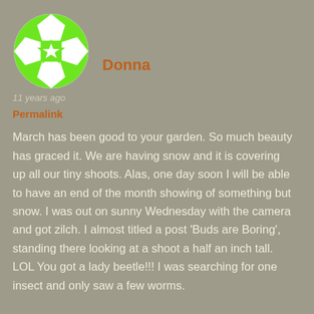[Figure (illustration): Round avatar icon with green and white soccer-ball-like pattern featuring star/flower shapes]
Donna
11 years ago
Permalink
March has been good to your garden. So much beauty has graced it. We are having snow and it is covering up all our tiny shoots. Alas, one day soon I will be able to have an end of the month showing of something but snow. I was out on sunny Wednesday with the camera and got zilch. I almost titled a post 'Buds are Boring', standing there looking at a shoot a half an inch tall. LOL You got a lady beetle!!! I was searching for one insect and only saw a few worms.